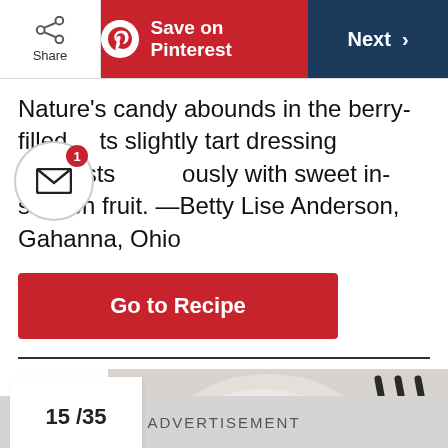Share | Save on Pinterest | Next
Nature's candy abounds in the berry-filled salad. Its slightly tart dressing contrasts beautifully with sweet in-season fruit. —Betty Lise Anderson, Gahanna, Ohio
Go to Recipe
15 /35
[Figure (photo): Food photo showing a plate with tableware including spoons and dark utensils on a light background]
ADVERTISEMENT